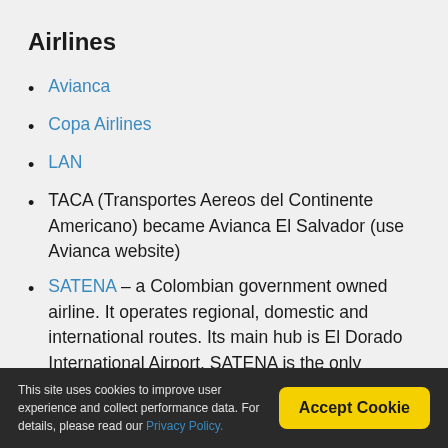Airlines
Avianca
Copa Airlines
LAN
TACA (Transportes Aereos del Continente Americano) became Avianca El Salvador (use Avianca website)
SATENA – a Colombian government owned airline. It operates regional, domestic and international routes. Its main hub is El Dorado International Airport. SATENA is the only Colombian airline that must exercise presence in regions where nobody else fly due to
This site uses cookies to improve user experience and collect performance data. For details, please read our Privacy Policy.